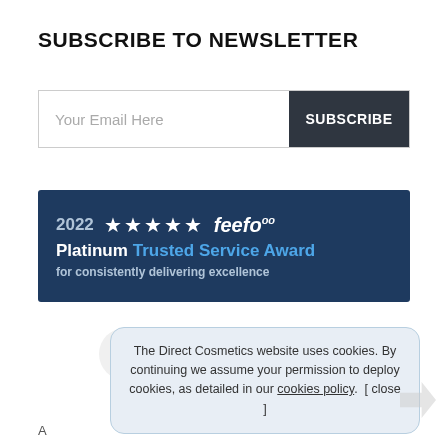SUBSCRIBE TO NEWSLETTER
Your Email Here | SUBSCRIBE
[Figure (logo): 2022 five-star feefo Platinum Trusted Service Award for consistently delivering excellence]
[Figure (infographic): Social media icons: Facebook, Twitter, Pinterest, Instagram]
The Direct Cosmetics website uses cookies. By continuing we assume your permission to deploy cookies, as detailed in our cookies policy. [ close ]